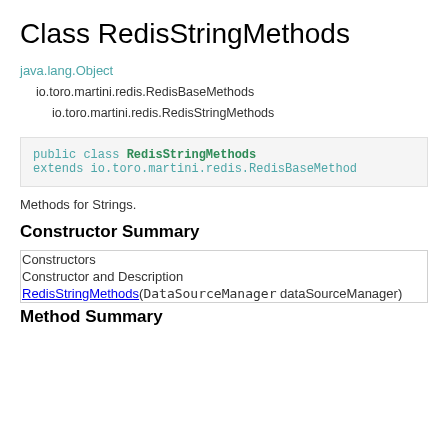Class RedisStringMethods
java.lang.Object
  io.toro.martini.redis.RedisBaseMethods
    io.toro.martini.redis.RedisStringMethods
public class RedisStringMethods extends io.toro.martini.redis.RedisBaseMethod
Methods for Strings.
Constructor Summary
| Constructor and Description |
| --- |
| RedisStringMethods(DataSourceManager dataSourceManager) |
Method Summary